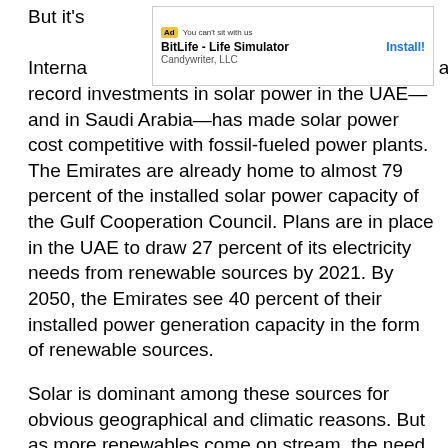But it's [Ad: BitLife - Life Simulator, Candywriter LLC, Install!] the International [ad banner] at record investments in solar power in the UAE—and in Saudi Arabia—has made solar power cost competitive with fossil-fueled power plants. The Emirates are already home to almost 79 percent of the installed solar power capacity of the Gulf Cooperation Council. Plans are in place in the UAE to draw 27 percent of its electricity needs from renewable sources by 2021. By 2050, the Emirates see 40 percent of their installed power generation capacity in the form of renewable sources.
Solar is dominant among these sources for obvious geographical and climatic reasons. But as more renewables come on stream, the need for energy storage grows, too. For the same reason, Abu Dhabi decided to have their record-breaking battery system use sodium-sulfur technology manufactured by Japanese NGK.